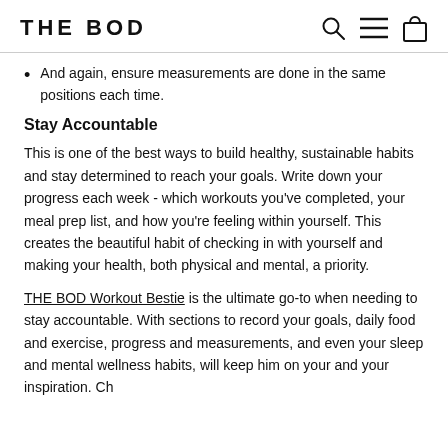THE BOD
And again, ensure measurements are done in the same positions each time.
Stay Accountable
This is one of the best ways to build healthy, sustainable habits and stay determined to reach your goals. Write down your progress each week - which workouts you've completed, your meal prep list, and how you're feeling within yourself. This creates the beautiful habit of checking in with yourself and making your health, both physical and mental, a priority.
THE BOD Workout Bestie is the ultimate go-to when needing to stay accountable. With sections to record your goals, daily food and exercise, progress and measurements, and even your sleep and mental wellness habits, will keep him on your and your inspiration. Ch...